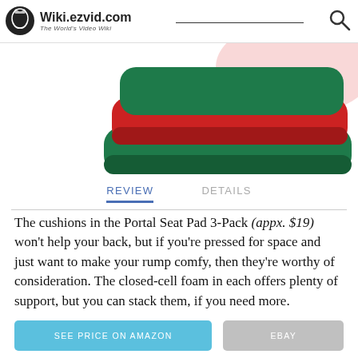Wiki.ezvid.com — The World's Video Wiki
[Figure (photo): Stacked seat cushion pads in green and red colors, shown at an angle on a light background.]
REVIEW   DETAILS
The cushions in the Portal Seat Pad 3-Pack (appx. $19) won't help your back, but if you're pressed for space and just want to make your rump comfy, then they're worthy of consideration. The closed-cell foam in each offers plenty of support, but you can stack them, if you need more.
SEE PRICE ON AMAZON   EBAY